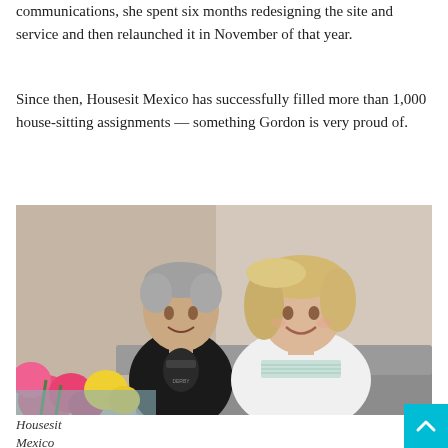communications, she spent six months redesigning the site and service and then relaunched it in November of that year.
Since then, Housesit Mexico has successfully filled more than 1,000 house-sitting assignments — something Gordon is very proud of.
[Figure (photo): A man and a woman sitting together on a couch/sofa. The man is on the left wearing a black t-shirt, the woman is on the right wearing a white top. Colorful flowers (pink, yellow) are visible in the foreground lower left.]
Housesit Mexico